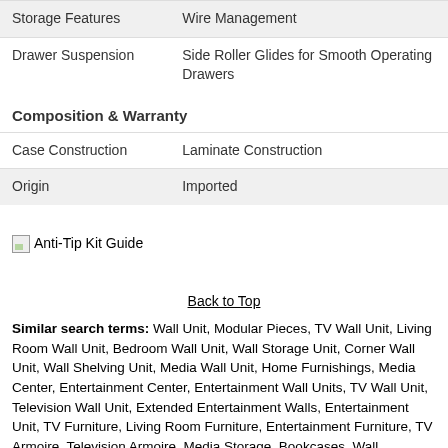| Feature | Value |
| --- | --- |
| Storage Features | Wire Management |
| Drawer Suspension | Side Roller Glides for Smooth Operating Drawers |
| Composition & Warranty |  |
| Case Construction | Laminate Construction |
| Origin | Imported |
[Figure (illustration): Anti-Tip Kit Guide broken image placeholder with text label]
Back to Top
Similar search terms: Wall Unit, Modular Pieces, TV Wall Unit, Living Room Wall Unit, Bedroom Wall Unit, Wall Storage Unit, Corner Wall Unit, Wall Shelving Unit, Media Wall Unit, Home Furnishings, Media Center, Entertainment Center, Entertainment Wall Units, TV Wall Unit, Television Wall Unit, Extended Entertainment Walls, Entertainment Unit, TV Furniture, Living Room Furniture, Entertainment Furniture, TV Armoire, Television Armoire, Media Storage, Bookcases, Wall Bookcase, Home